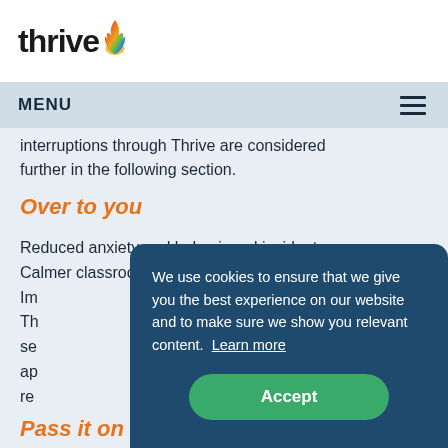thrive
MENU
interruptions through Thrive are considered further in the following section.
Over to you
Reduced anxiety and behavioural incidents. Calmer classrooms filled with engaged leaners Im Th se ap re
Pass it on
We use cookies to ensure that we give you the best experience on our website and to make sure we show you relevant content.  Learn more
Accept